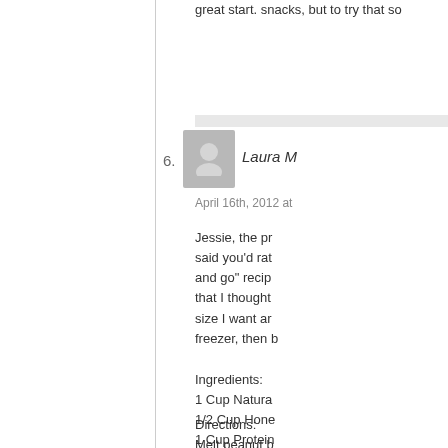great start. snacks, but to try that so
6. Laura M
April 16th, 2012 at
Jessie, the pr said you'd rat and go" recip that I thought size I want ar freezer, then b
Ingredients:
1 Cup Natura
1/2 Cup Hone
1 Cup Protein
1 Cup Uncool
Directions:
Melt peanut b